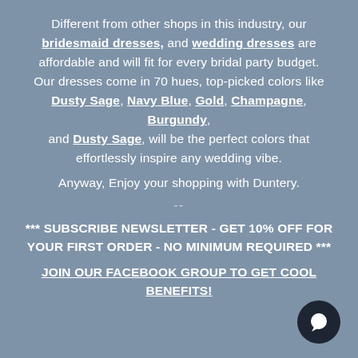Different from other shops in this industry, our bridesmaid dresses, and wedding dresses are affordable and will fit for every bridal party budget. Our dresses come in 70 hues, top-picked colors like Dusty Sage, Navy Blue, Gold, Champagne, Burgundy, and Dusty Sage, will be the perfect colors that effortlessly inspire any wedding vibe.
Anyway, Enjoy your shopping with Duntery.
--
*** SUBSCRIBE NEWSLETTER - GET 10% OFF FOR YOUR FIRST ORDER - NO MINIMUM REQUIRED ***
JOIN OUR FACEBOOK GROUP TO GET COOL BENEFITS!